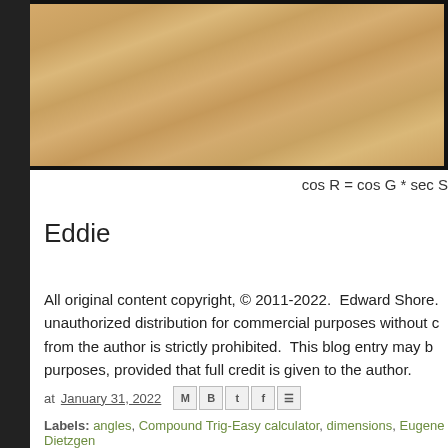[Figure (photo): Wood texture photo with dark border, cropped at top]
Eddie
All original content copyright, © 2011-2022.  Edward Shore. unauthorized distribution for commercial purposes without consent from the author is strictly prohibited.  This blog entry may be shared for educational purposes, provided that full credit is given to the author.
at January 31, 2022
Labels: angles, Compound Trig-Easy calculator, dimensions, Eugene Dietzgen